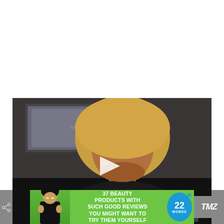[Figure (screenshot): Video player screenshot showing a blonde woman speaking, with a framed picture on the wall behind her. A white play button triangle is centered on the video. A dark semi-transparent 'CLOSE' button appears in the bottom-right of the video frame.]
[Figure (screenshot): Green advertisement banner reading '37 BEAUTY PRODUCTS WITH SUCH GOOD REVIEWS YOU MIGHT WANT TO TRY THEM YOURSELF' with a woman's photo on the left and a blue '22 WORDS' circular badge on the right. A blue X close button is in the top-right corner. TMZ logo appears to the right.]